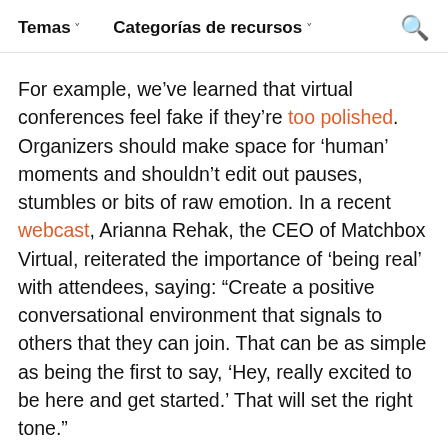Temas ˅   Categorías de recursos ˅   🔍
For example, we've learned that virtual conferences feel fake if they're too polished. Organizers should make space for 'human' moments and shouldn't edit out pauses, stumbles or bits of raw emotion. In a recent webcast, Arianna Rehak, the CEO of Matchbox Virtual, reiterated the importance of 'being real' with attendees, saying: "Create a positive conversational environment that signals to others that they can join. That can be as simple as being the first to say, 'Hey, really excited to be here and get started.' That will set the right tone."
Including interludes or adding breaks to the event schedule can also help with attendee engagement